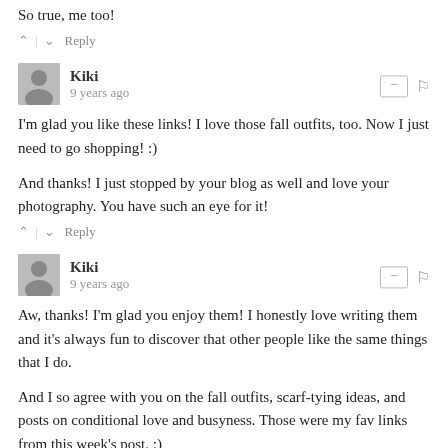So true, me too!
^ | v  Reply
Kiki
9 years ago
I'm glad you like these links! I love those fall outfits, too. Now I just need to go shopping! :)
And thanks! I just stopped by your blog as well and love your photography. You have such an eye for it!
^ | v  Reply
Kiki
9 years ago
Aw, thanks! I'm glad you enjoy them! I honestly love writing them and it's always fun to discover that other people like the same things that I do.
And I so agree with you on the fall outfits, scarf-tying ideas, and posts on conditional love and busyness. Those were my fav links from this week's post. :)
^ | v  Reply